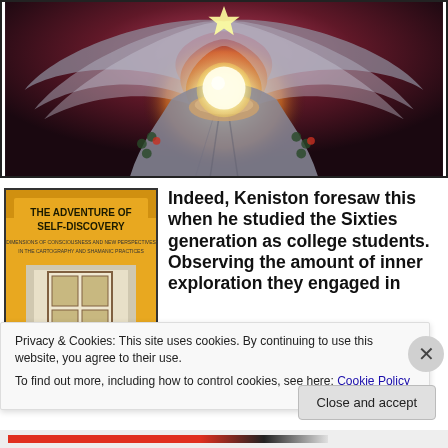[Figure (illustration): Fantasy illustration of a robed figure with large feathered wings holding a glowing orb of light in cupped hands, with a radiant star or symbol above. The scene has dark, dramatic lighting with warm glow at the center.]
[Figure (photo): Book cover for 'The Adventure of Self-Discovery' with a yellow/orange background showing a doorway with a hand reaching towards it.]
Indeed, Keniston foresaw this when he studied the Sixties generation as college students. Observing the amount of inner exploration they engaged in
Privacy & Cookies: This site uses cookies. By continuing to use this website, you agree to their use.
To find out more, including how to control cookies, see here: Cookie Policy